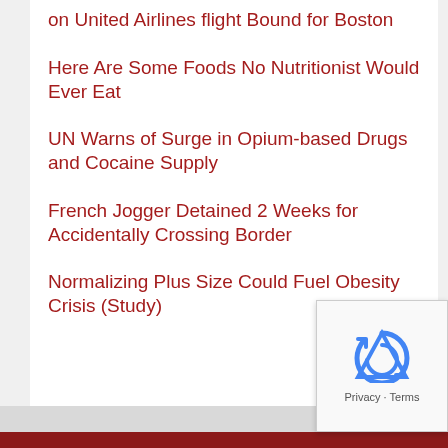on United Airlines flight Bound for Boston
Here Are Some Foods No Nutritionist Would Ever Eat
UN Warns of Surge in Opium-based Drugs and Cocaine Supply
French Jogger Detained 2 Weeks for Accidentally Crossing Border
Normalizing Plus Size Could Fuel Obesity Crisis (Study)
Privacy · Terms